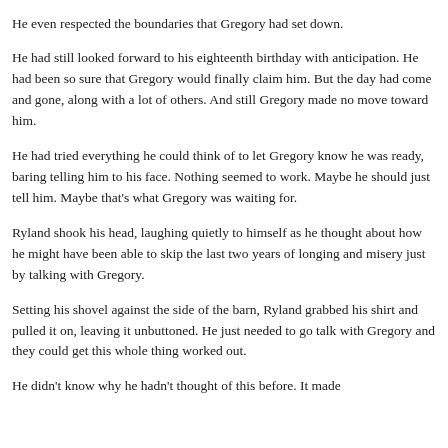He even respected the boundaries that Gregory had set down. He had still looked forward to his eighteenth birthday with anticipation. He had been so sure that Gregory would finally claim him. But the day had come and gone, along with a lot of others. And still Gregory made no move toward him.

He had tried everything he could think of to let Gregory know he was ready, baring telling him to his face. Nothing seemed to work. Maybe he should just tell him. Maybe that's what Gregory was waiting for.

Ryland shook his head, laughing quietly to himself as he thought about how he might have been able to skip the last two years of longing and misery just by talking with Gregory.

Setting his shovel against the side of the barn, Ryland grabbed his shirt and pulled it on, leaving it unbuttoned. He just needed to go talk with Gregory and they could get this whole thing worked out.

He didn't know why he hadn't thought of this before. It made